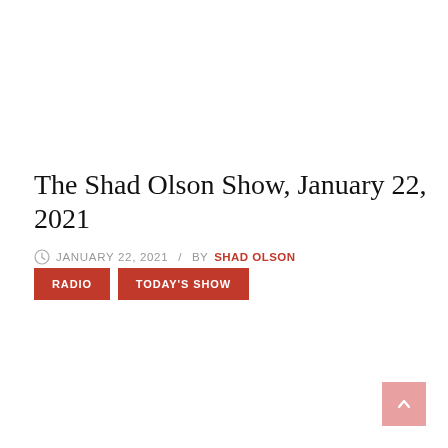The Shad Olson Show, January 22, 2021
JANUARY 22, 2021 / BY SHAD OLSON
RADIO
TODAY'S SHOW